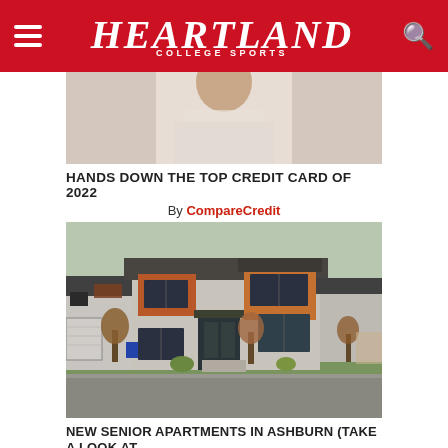Heartland College Sports
[Figure (photo): Partial photo of a person, cropped at top, shown from waist up]
HANDS DOWN THE TOP CREDIT CARD OF 2022
By CompareCredit
[Figure (photo): Photo of modern two-story residential house with stone and wood accent exterior, front yard with small trees, street view]
NEW SENIOR APARTMENTS IN ASHBURN (TAKE A LOOK AT